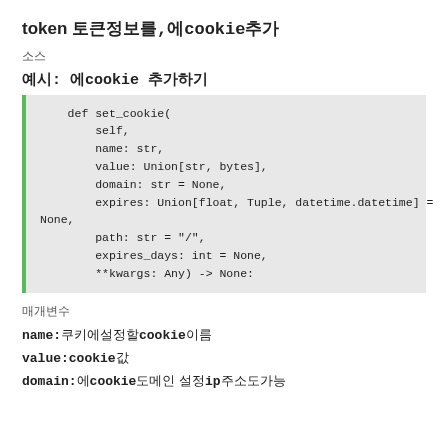token 토큰정보를,에cookie추가
소스
예시: 에cookie 추가하기
def set_cookie(
    self,
    name: str,
    value: Union[str, bytes],
    domain: str = None,
    expires: Union[float, Tuple, datetime.datetime] = None,
    path: str = "/",
    expires_days: int = None,
    **kwargs: Any) -> None:
매개변수
name:쿠키에설정할cookie이름
value:cookie값
domain:에cookie도메인 설정ip주소도가능